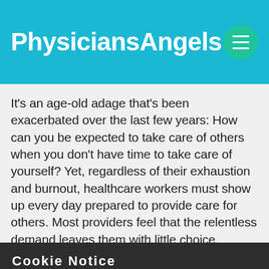PhysiciansAngels
It's an age-old adage that's been exacerbated over the last few years: How can you be expected to take care of others when you don't have time to take care of yourself? Yet, regardless of their exhaustion and burnout, healthcare workers must show up every day prepared to provide care for others. Most providers feel that the relentless demand leaves them with little choice.
Cookie Notice
Find out more about how this website uses cookies to enhance your browsing experience.
ACCEPT COOKIES